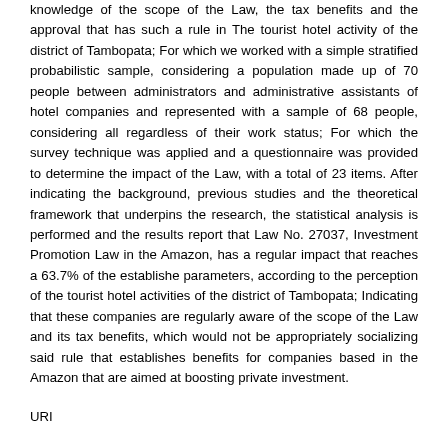knowledge of the scope of the Law, the tax benefits and the approval that has such a rule in The tourist hotel activity of the district of Tambopata; For which we worked with a simple stratified probabilistic sample, considering a population made up of 70 people between administrators and administrative assistants of hotel companies and represented with a sample of 68 people, considering all regardless of their work status; For which the survey technique was applied and a questionnaire was provided to determine the impact of the Law, with a total of 23 items. After indicating the background, previous studies and the theoretical framework that underpins the research, the statistical analysis is performed and the results report that Law No. 27037, Investment Promotion Law in the Amazon, has a regular impact that reaches a 63.7% of the establishe parameters, according to the perception of the tourist hotel activities of the district of Tambopata; Indicating that these companies are regularly aware of the scope of the Law and its tax benefits, which would not be appropriately socializing said rule that establishes benefits for companies based in the Amazon that are aimed at boosting private investment.
URI